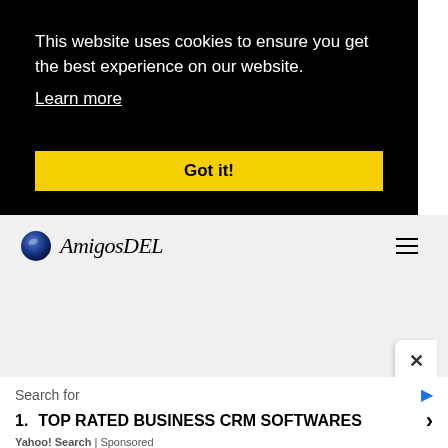This website uses cookies to ensure you get the best experience on our website.
Learn more
Got it!
[Figure (logo): AmigosDEL logo with blue sphere and italic serif text]
Search for
1. TOP RATED BUSINESS CRM SOFTWARES
Yahoo! Search | Sponsored